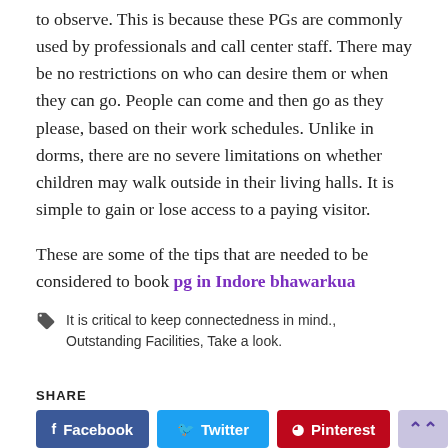to observe. This is because these PGs are commonly used by professionals and call center staff. There may be no restrictions on who can desire them or when they can go. People can come and then go as they please, based on their work schedules. Unlike in dorms, there are no severe limitations on whether children may walk outside in their living halls. It is simple to gain or lose access to a paying visitor.
These are some of the tips that are needed to be considered to book pg in Indore bhawarkua
It is critical to keep connectedness in mind., Outstanding Facilities, Take a look.
SHARE
[Figure (other): Social share buttons: Facebook, Twitter, Pinterest, and a more button]